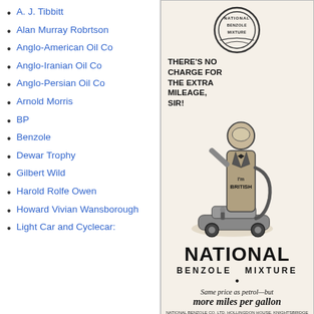A. J. Tibbitt
Alan Murray Robrtson
Anglo-American Oil Co
Anglo-Iranian Oil Co
Anglo-Persian Oil Co
Arnold Morris
BP
Benzole
Dewar Trophy
Gilbert Wild
Harold Rolfe Owen
Howard Vivian Wansborough
Light Car and Cyclecar:
[Figure (illustration): Vintage advertisement for National Benzole Mixture. Features an anthropomorphized petrol pump wearing a tuxedo with 'I'm British' written on its body, standing next to a vintage car. Text reads: THERE'S NO CHARGE FOR THE EXTRA MILEAGE, SIR! NATIONAL BENZOLE MIXTURE. Same price as petrol—but more miles per gallon. National Benzole Co. Ltd.]